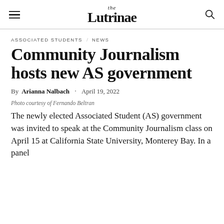the Lutrinae
ASSOCIATED STUDENTS / NEWS
Community Journalism hosts new AS government
By Arianna Nalbach · April 19, 2022
Photo courtesy of Fernando Beltran
The newly elected Associated Student (AS) government was invited to speak at the Community Journalism class on April 15 at California State University, Monterey Bay. In a panel